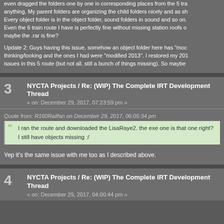even dragged the folders one by one in corresponding places from the 5 tra anything. My parent folders are organizing the child folders nicely and as sh Every object folder is in the object folder, sound folders in sound and so on. Even the 6 train route I have is perfectly fine without missing station roofs c maybe the .rar is fine?

Update 2: Guys having this issue, somehow an object folder here has "moc thinking/looking and the ones I had were "modified 2013". I restored my 201 issues in this 5 route (but not all, still a bunch of things missing). So maybe
3  NYCTA Projects / Re: (WIP) The Complete IRT Development Thread
« on: December 29, 2017, 07:23:59 pm »
Quote from: R160Railfan on December 29, 2017, 06:05:34 pm
I ran the route and downloaded the LisaRaye2. the exe one is that one right?
I still have objects missing :/
Yep it's the same issue with me too as I described above.
4  NYCTA Projects / Re: (WIP) The Complete IRT Development Thread
« on: December 29, 2017, 04:00:44 pm »